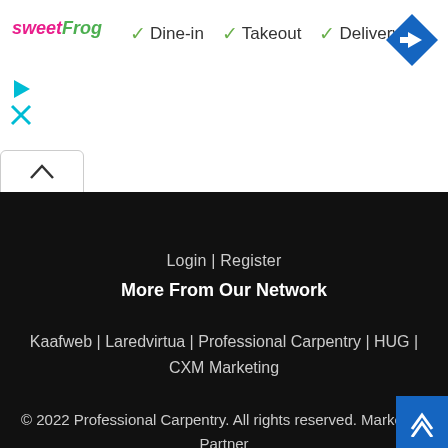[Figure (logo): sweetFrog logo with pink 'sweet' and green 'Frog' text]
✓ Dine-in  ✓ Takeout  ✓ Delivery
[Figure (other): Blue diamond-shaped navigation/directions icon with white arrow]
[Figure (other): Cyan play button triangle icon]
[Figure (other): Cyan X close icon]
[Figure (other): Up caret/chevron tab button]
Login | Register
More From Our Network
Kaafweb | Laredvirtua | Professional Carpentry | HUG | CXM Marketing
© 2022 Professional Carpentry. All rights reserved. Marketing Partner